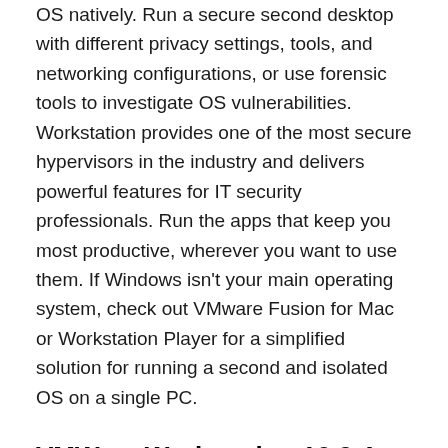OS natively. Run a secure second desktop with different privacy settings, tools, and networking configurations, or use forensic tools to investigate OS vulnerabilities. Workstation provides one of the most secure hypervisors in the industry and delivers powerful features for IT security professionals. Run the apps that keep you most productive, wherever you want to use them. If Windows isn't your main operating system, check out VMware Fusion for Mac or Workstation Player for a simplified solution for running a second and isolated OS on a single PC.
VMWare Workstation 16.2.4 Pro License Key + Torrent Download
What's more, it supports DirectX 11 and OpenGL 4.1 to